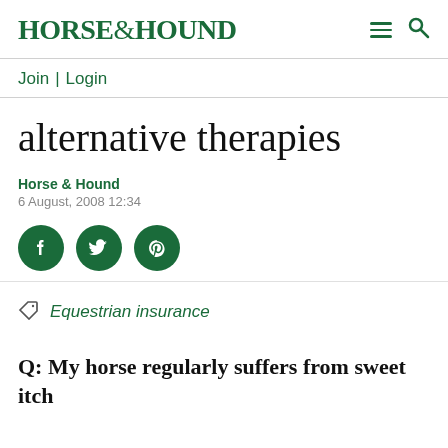HORSE&HOUND
Join | Login
alternative therapies
Horse & Hound
6 August, 2008 12:34
[Figure (infographic): Social share buttons: Facebook, Twitter, Pinterest (dark green circles with white icons)]
Equestrian insurance
Q: My horse regularly suffers from sweet itch…